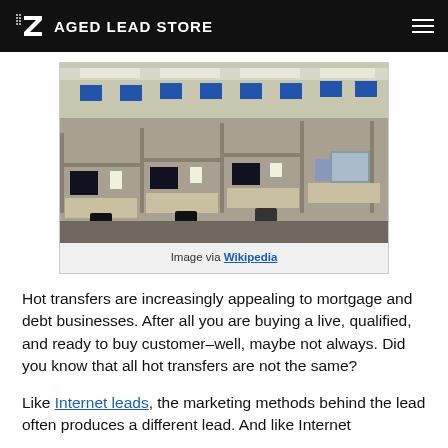AGED LEAD STORE
[Figure (photo): A large call center office with many cubicles, computer monitors, and office chairs arranged in rows under fluorescent lighting.]
Image via Wikipedia
Hot transfers are increasingly appealing to mortgage and debt businesses. After all you are buying a live, qualified, and ready to buy customer–well, maybe not always. Did you know that all hot transfers are not the same?
Like Internet leads, the marketing methods behind the lead often produces a different lead. And like Internet